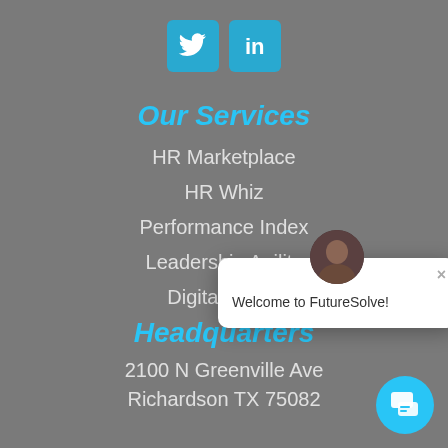[Figure (logo): Twitter and LinkedIn social media icon buttons in cyan/blue]
Our Services
HR Marketplace
HR Whiz
Performance Index
Leadership Agility
Digital Ass[essment — partially obscured]
[Figure (screenshot): Chat widget popup with avatar and 'Welcome to FutureSolve!' message with close button]
Headquarters
2100 N Greenville Ave
Richardson TX 75082